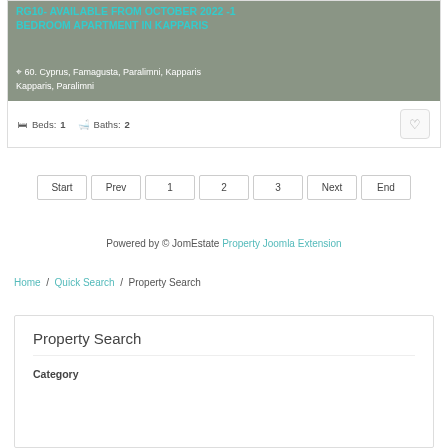Rg10- AVAILABLE FROM OCTOBER 2022 -1 BEDROOM APARTMENT IN KAPPARIS
60. Cyprus, Famagusta, Paralimni, Kapparis Kapparis, Paralimni
Beds: 1   Baths: 2
Start
Prev
1
2
3
Next
End
Powered by © JomEstate Property Joomla Extension
Home / Quick Search / Property Search
Property Search
Category